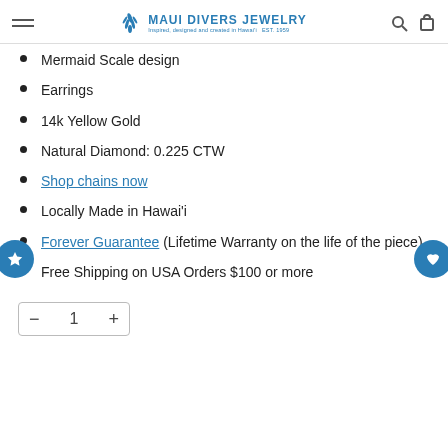Maui Divers Jewelry — EST. 1959
Mermaid Scale design
Earrings
14k Yellow Gold
Natural Diamond: 0.225 CTW
Shop chains now
Locally Made in Hawai'i
Forever Guarantee (Lifetime Warranty on the life of the piece)
Free Shipping on USA Orders $100 or more